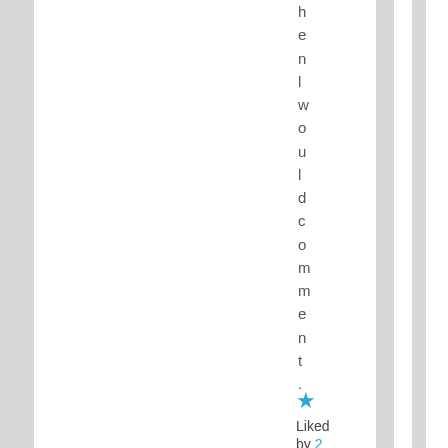h e n l w o u l d c o m m e n t .
★ Liked by 2 people